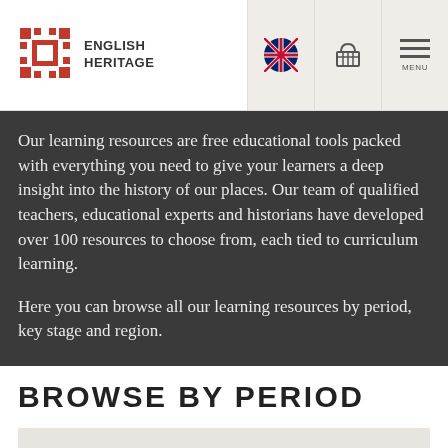ENGLISH HERITAGE
Our learning resources are free educational tools packed with everything you need to give your learners a deep insight into the history of our places. Our team of qualified teachers, educational experts and historians have developed over 100 resources to choose from, each tied to curriculum learning.
Here you can browse all our learning resources by period, key stage and region.
BROWSE BY PERIOD
PREHISTORY